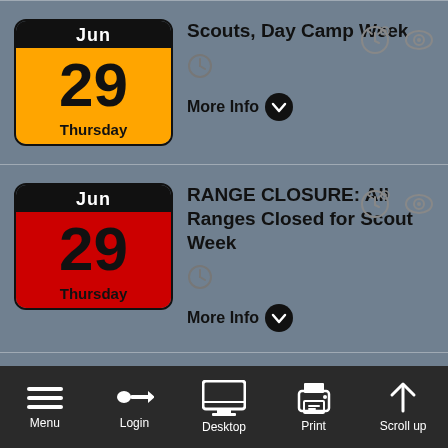[Figure (screenshot): Calendar event entry: Jun 29 Thursday (orange badge), Scouts Day Camp Week, clock icon, More Info dropdown]
[Figure (screenshot): Calendar event entry: Jun 29 Thursday (red badge), RANGE CLOSURE: All Ranges Closed for Scout Week, clock icon, More Info dropdown]
[Figure (screenshot): Calendar event entry: Jun 30 Friday (tan/brown badge), Scouts Day Camp Week, partially visible, bottom nav bar with Menu, Login, Desktop, Print, Scroll up]